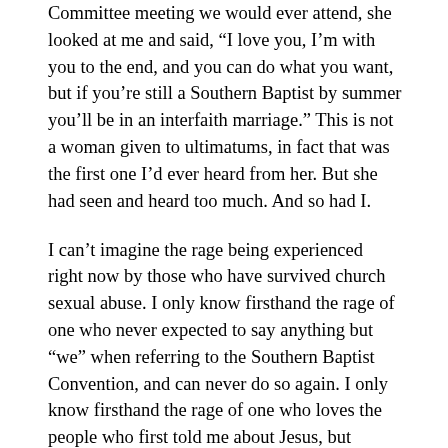Committee meeting we would ever attend, she looked at me and said, “I love you, I’m with you to the end, and you can do what you want, but if you’re still a Southern Baptist by summer you’ll be in an interfaith marriage.” This is not a woman given to ultimatums, in fact that was the first one I’d ever heard from her. But she had seen and heard too much. And so had I.
I can’t imagine the rage being experienced right now by those who have survived church sexual abuse. I only know firsthand the rage of one who never expected to say anything but “we” when referring to the Southern Baptist Convention, and can never do so again. I only know firsthand the rage of one who loves the people who first told me about Jesus, but cannot believe that this is what they expected me to do, what they expected me to be. I only know firsthand the rage of one who wonders while reading what happened on the seventh floor of that Southern Baptist building, how many children were raped, how many people were assaulted, how many screams were silenced, while we